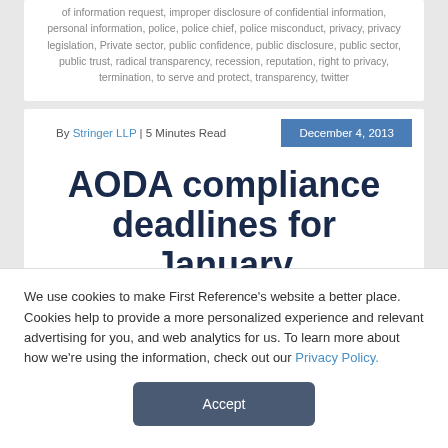of information request, improper disclosure of confidential information, personal information, police, police chief, police misconduct, privacy, privacy legislation, Private sector, public confidence, public disclosure, public sector, public trust, radical transparency, recession, reputation, right to privacy, termination, to serve and protect, transparency, twitter
By Stringer LLP | 5 Minutes Read   December 4, 2013
AODA compliance deadlines for January
We use cookies to make First Reference's website a better place. Cookies help to provide a more personalized experience and relevant advertising for you, and web analytics for us. To learn more about how we're using the information, check out our Privacy Policy.